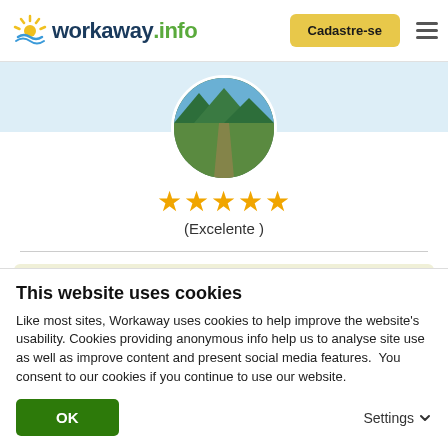[Figure (logo): Workaway.info logo with sun icon]
Cadastre-se
[Figure (photo): Circular profile photo showing a garden/nature scene]
★★★★★ (Excelente )
29/12/2017
Deixado pelo Workawayer (Benji) para o anfitrião
Ohhh what can I say
This website uses cookies
Like most sites, Workaway uses cookies to help improve the website's usability. Cookies providing anonymous info help us to analyse site use as well as improve content and present social media features.  You consent to our cookies if you continue to use our website.
OK
Settings